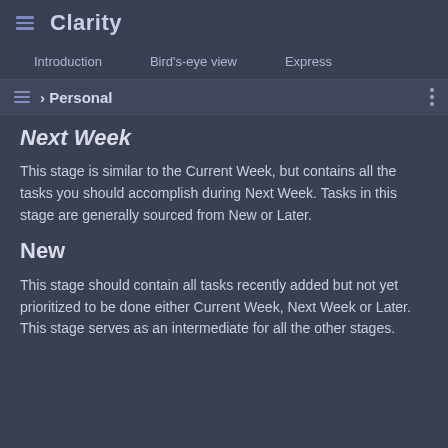≡ Clarity
Introduction   Bird's-eye view   Express
≡ › Personal
Next Week
This stage is similar to the Current Week, but contains all the tasks you should accomplish during Next Week. Tasks in this stage are generally sourced from New or Later.
New
This stage should contain all tasks recently added but not yet prioritized to be done either Current Week, Next Week or Later. This stage serves as an intermediate for all the other stages.